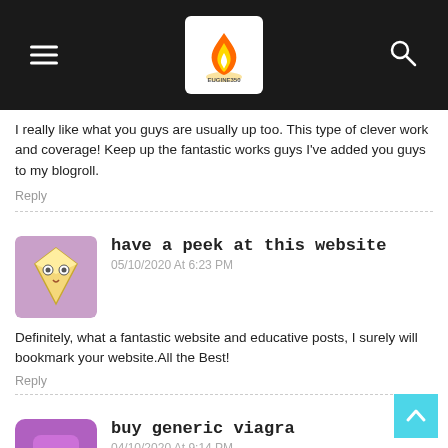[Figure (logo): Website navigation bar with hamburger menu, EUGINE350 logo (flame icon), and search icon on dark background]
I really like what you guys are usually up too. This type of clever work and coverage! Keep up the fantastic works guys I've added you guys to my blogroll.
Reply
[Figure (illustration): User avatar with diamond shape and face, purple/pink background]
have a peek at this website
05/10/2020 At 6:23 PM
Definitely, what a fantastic website and educative posts, I surely will bookmark your website.All the Best!
Reply
[Figure (illustration): User avatar with robot/nerd emoji face, purple background]
buy generic viagra
04/10/2020 At 9:14 PM
buy generic viagra